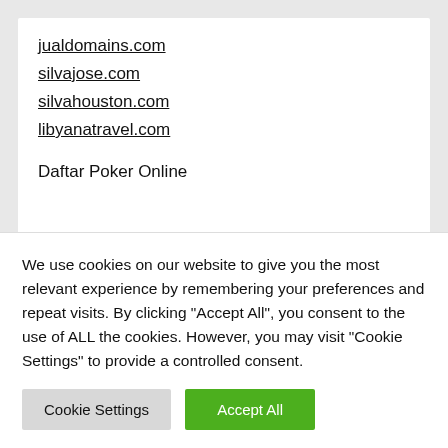jualdomains.com
silvajose.com
silvahouston.com
libyanatravel.com
Daftar Poker Online
YOU MAY HAVE MISSED
We use cookies on our website to give you the most relevant experience by remembering your preferences and repeat visits. By clicking "Accept All", you consent to the use of ALL the cookies. However, you may visit "Cookie Settings" to provide a controlled consent.
Cookie Settings | Accept All